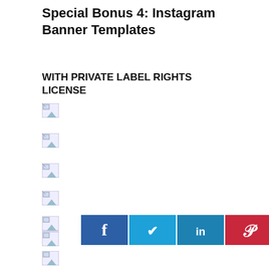Special Bonus 4: Instagram Banner Templates
WITH PRIVATE LABEL RIGHTS LICENSE
[Figure (illustration): Broken image placeholder 1]
[Figure (illustration): Broken image placeholder 2]
[Figure (illustration): Broken image placeholder 3]
[Figure (illustration): Broken image placeholder 4]
[Figure (illustration): Broken image placeholder 5 (double stacked)]
[Figure (illustration): Broken image placeholder 6]
[Figure (illustration): Broken image placeholder 7]
[Figure (infographic): Social share buttons: Facebook, Twitter, LinkedIn, Pinterest]